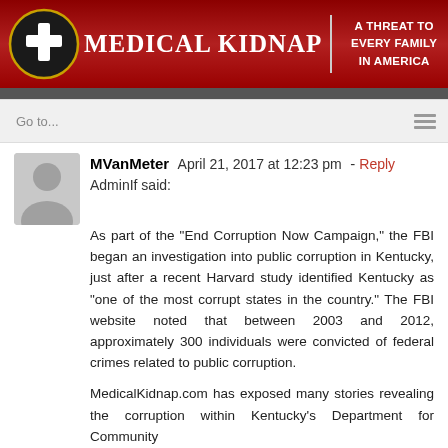MEDICAL KIDNAP | A THREAT TO EVERY FAMILY IN AMERICA
Go to...
MVanMeter  April 21, 2017 at 12:23 pm - Reply

AdminIf said:

As part of the “End Corruption Now Campaign,” the FBI began an investigation into public corruption in Kentucky, just after a recent Harvard study identified Kentucky as “one of the most corrupt states in the country.” The FBI website noted that between 2003 and 2012, approximately 300 individuals were convicted of federal crimes related to public corruption.

MedicalKidnap.com has exposed many stories revealing the corruption within Kentucky’s Department for Community